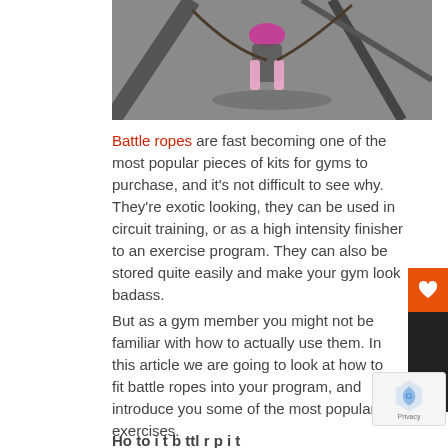[Figure (photo): Photo of a person using battle ropes on a court, wearing pink and grey clothing, viewed from above.]
Battle ropes are fast becoming one of the most popular pieces of kits for gyms to purchase, and it's not difficult to see why. They're exotic looking, they can be used in circuit training, or as a high intensity finisher to an exercise program. They can also be stored quite easily and make your gym look badass.
But as a gym member you might not be familiar with how to actually use them. In this article we are going to look at how to fit battle ropes into your program, and introduce you some of the most popular exercises.